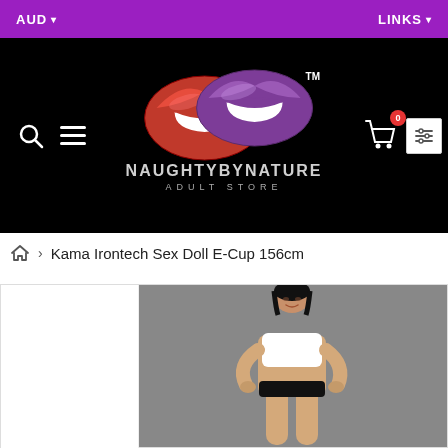AUD ▾   LINKS ▾
[Figure (logo): NaughtyByNature Adult Store logo — two stylized lips (red and purple) with text NAUGHTYBYNATURE ADULT STORE and TM mark]
Kama Irontech Sex Doll E-Cup 156cm
[Figure (photo): Product photo of a female mannequin/doll wearing a white crop top and black bikini bottoms, posed against a grey background]